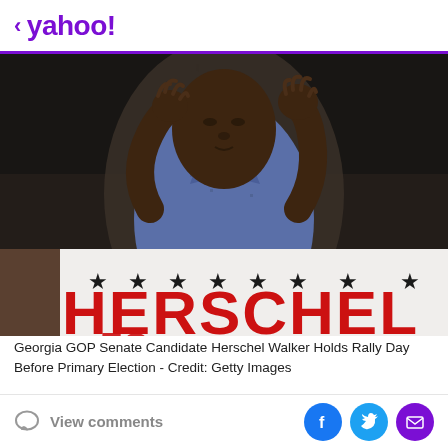< yahoo!
[Figure (photo): Herschel Walker speaking at a podium/rally, gesturing with both hands raised, wearing a blue patterned shirt. A microphone stand is visible. In the foreground is a white campaign sign with black stars and large red text reading 'HERSCHEL' (partially visible). Background is a dark brick wall.]
Georgia GOP Senate Candidate Herschel Walker Holds Rally Day Before Primary Election - Credit: Getty Images
View comments
[Figure (other): Social sharing icons: Facebook (blue circle with white f), Twitter (light blue circle with white bird), Email/Mail (purple circle with white envelope)]